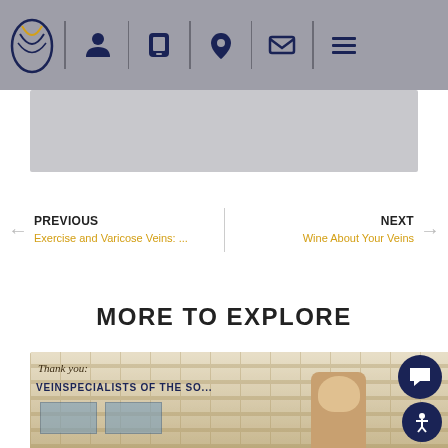[Figure (screenshot): Medical website navigation bar with logo, person icon, phone icon, location pin icon, email icon, and hamburger menu icon on gray background]
[Figure (screenshot): Gray banner area below navigation bar]
PREVIOUS
Exercise and Varicose Veins: ...
NEXT
Wine About Your Veins
MORE TO EXPLORE
[Figure (photo): Photo of Vein Specialists of the South building exterior with signage reading 'Thank you' and 'VEINSPECIALISTS OF THE SO...' and a man standing in front]